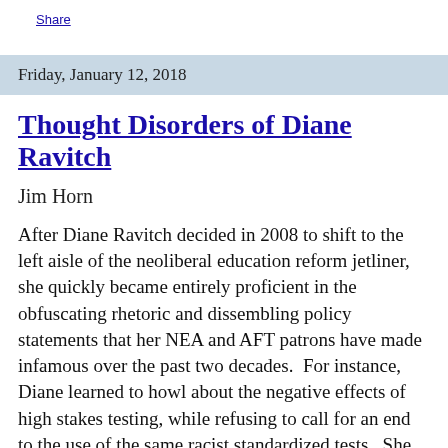Share
Friday, January 12, 2018
Thought Disorders of Diane Ravitch
Jim Horn
After Diane Ravitch decided in 2008 to shift to the left aisle of the neoliberal education reform jetliner, she quickly became entirely proficient in the obfuscating rhetoric and dissembling policy statements that her NEA and AFT patrons have made infamous over the past two decades.  For instance, Diane learned to howl about the negative effects of high stakes testing, while refusing to call for an end to the use of the same racist standardized tests.  She learned to wring her hands about school privatization, while refusing to call for the closure of charter schools.  She decries the drain of public funds